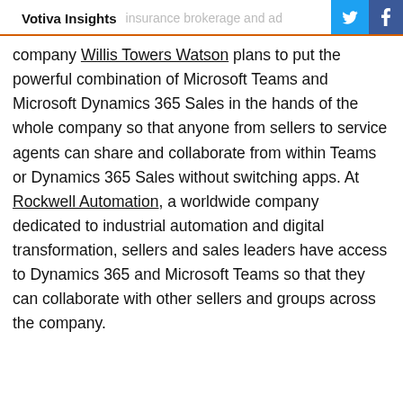Votiva Insights
company Willis Towers Watson plans to put the powerful combination of Microsoft Teams and Microsoft Dynamics 365 Sales in the hands of the whole company so that anyone from sellers to service agents can share and collaborate from within Teams or Dynamics 365 Sales without switching apps. At Rockwell Automation, a worldwide company dedicated to industrial automation and digital transformation, sellers and sales leaders have access to Dynamics 365 and Microsoft Teams so that they can collaborate with other sellers and groups across the company.